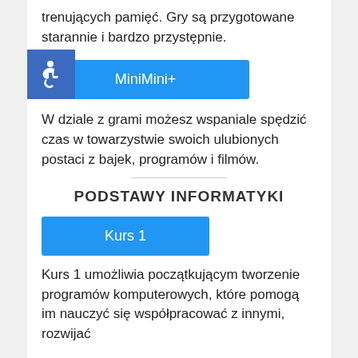trenujących pamięć. Gry są przygotowane starannie i bardzo przystępnie.
[Figure (logo): Accessibility wheelchair icon in blue square]
[Figure (other): MiniMini+ blue button/label]
W dziale z grami możesz wspaniale spędzić czas w towarzystwie swoich ulubionych postaci z bajek, programów i filmów.
PODSTAWY INFORMATYKI
[Figure (other): Kurs 1 blue button/label]
Kurs 1 umożliwia początkującym tworzenie programów komputerowych, które pomogą im nauczyć się współpracować z innymi, rozwijać